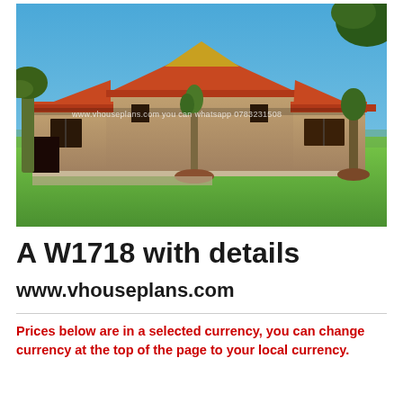[Figure (photo): 3D rendered image of a single-storey house with orange/terracotta tiled roof, yellow gable peak, brown/tan stucco walls, green lawn, and trees. Watermark text reads: www.vhouseplans.com you can whatsapp 0783231508]
A W1718 with details
www.vhouseplans.com
Prices below are in a selected currency, you can change currency at the top of the page to your local currency.